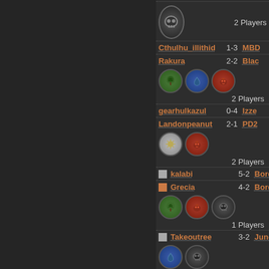[Figure (screenshot): Magic: The Gathering Arena or similar online card game tournament/league standings UI. Dark themed interface showing player names, match records (W-L), and deck names. Left portion shows dark sidebar panel. Right portion shows: skull avatar icon, '2 Players' label, player 'Cthulhu_illithid' with record '1-3' and deck 'MBD', player 'Rakura' with record '2-2' and deck 'Blac', three mana icons (green tree, blue drop, red dragon), '2 Players' label, player 'gearhulkazul' with record '0-4' and deck 'Izze', player 'Landonpeanut' with record '2-1' and deck 'PD2', two mana icons (white/gold sun, red dragon), '2 Players' label, player 'kalabi' with record '5-2' and deck 'Bord', player 'Grecia' with record '4-2' and deck 'Bord', three mana icons (green tree, red dragon, black skull), '1 Players' label, player 'Takeoutree' with record '3-2' and deck 'Jund', two mana icons (blue drop, black skull), '1 Players' label, player 'Hyporin' with record '1-3' and deck 'PND']